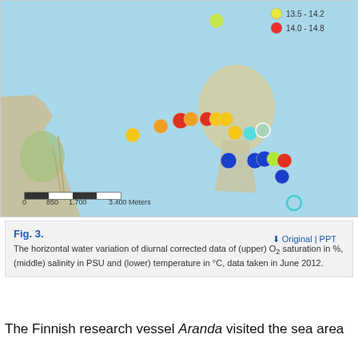[Figure (map): Map showing horizontal water variation sampling stations in a coastal sea area near Finland. Colored dots (yellow, orange, red, cyan, blue, light green) represent different temperature ranges (14.0-14.8 shown in legend). Scale bar shows 0, 850, 1,700, 3,400 Meters. Legend entries include red dot: 14.0-14.8.]
Fig. 3. The horizontal water variation of diurnal corrected data of (upper) O2 saturation in %, (middle) salinity in PSU and (lower) temperature in °C, data taken in June 2012.
The Finnish research vessel Aranda visited the sea area